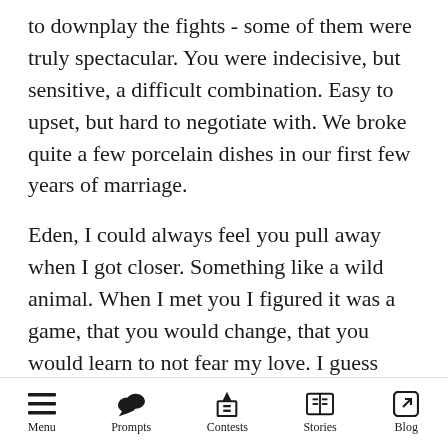to downplay the fights - some of them were truly spectacular. You were indecisive, but sensitive, a difficult combination. Easy to upset, but hard to negotiate with. We broke quite a few porcelain dishes in our first few years of marriage.
Eden, I could always feel you pull away when I got closer. Something like a wild animal. When I met you I figured it was a game, that you would change, that you would learn to not fear my love. I guess there was a hidden part of you that you were never willing to expose to the light of day, even to me, your life partner. Sometimes the distance between us increased, sometimes it
Menu  Prompts  Contests  Stories  Blog